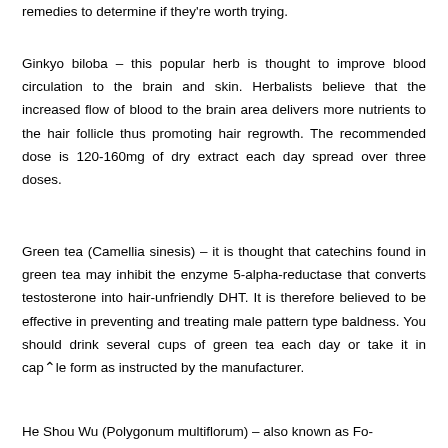remedies to determine if they're worth trying.
Ginkyo biloba – this popular herb is thought to improve blood circulation to the brain and skin. Herbalists believe that the increased flow of blood to the brain area delivers more nutrients to the hair follicle thus promoting hair regrowth. The recommended dose is 120-160mg of dry extract each day spread over three doses.
Green tea (Camellia sinesis) – it is thought that catechins found in green tea may inhibit the enzyme 5-alpha-reductase that converts testosterone into hair-unfriendly DHT. It is therefore believed to be effective in preventing and treating male pattern type baldness. You should drink several cups of green tea each day or take it in capsule form as instructed by the manufacturer.
He Shou Wu (Polygonum multiflorum) – also known as Fo-